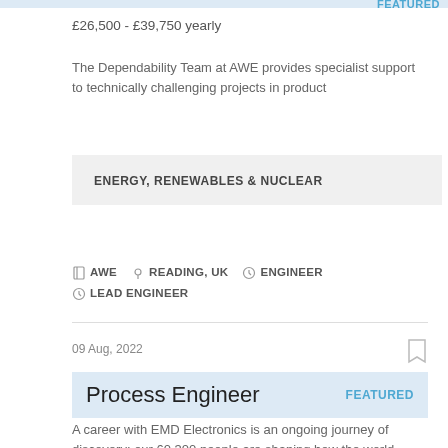£26,500 - £39,750 yearly
The Dependability Team at AWE provides specialist support to technically challenging projects in product
ENERGY, RENEWABLES & NUCLEAR
AWE   READING, UK   ENGINEER   LEAD ENGINEER
09 Aug, 2022
Process Engineer
FEATURED
A career with EMD Electronics is an ongoing journey of discovery: our 60,300 people are shaping how the world